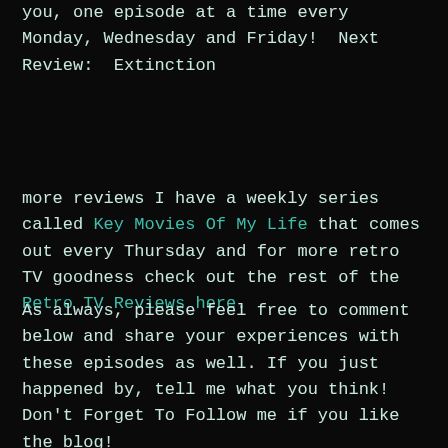you, one episode at a time every Monday, Wednesday and Friday!  Next Review:  Extinction
more reviews I have a weekly series called Key Movies Of My Life that comes out every Thursday and for more retro TV goodness check out the rest of the Retro TV Reviews here.
As always, please feel free to comment below and share your experiences with these episodes as well. If you just happened by, tell me what you think! Don't Forget To Follow me if you like the blog!